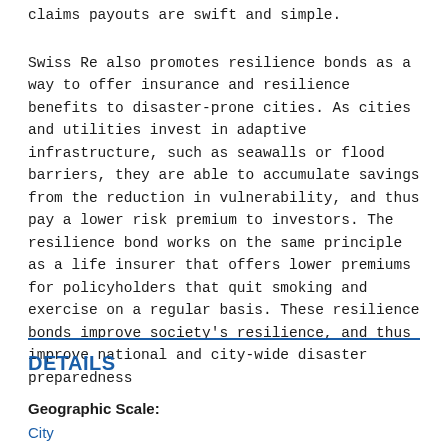claims payouts are swift and simple.
Swiss Re also promotes resilience bonds as a way to offer insurance and resilience benefits to disaster-prone cities. As cities and utilities invest in adaptive infrastructure, such as seawalls or flood barriers, they are able to accumulate savings from the reduction in vulnerability, and thus pay a lower risk premium to investors. The resilience bond works on the same principle as a life insurer that offers lower premiums for policyholders that quit smoking and exercise on a regular basis. These resilience bonds improve society's resilience, and thus improve national and city-wide disaster preparedness
DETAILS
Geographic Scale:
City